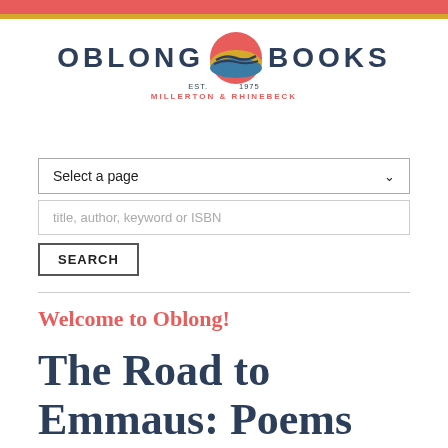[Figure (logo): Oblong Books logo with circular sunset/mountain graphic between the words OBLONG and BOOKS, with EST. 1975 below and MILLERTON & RHINEBECK in red]
Select a page
title, author, keyword or ISBN
SEARCH
Welcome to Oblong!
The Road to Emmaus: Poems (Paperback)